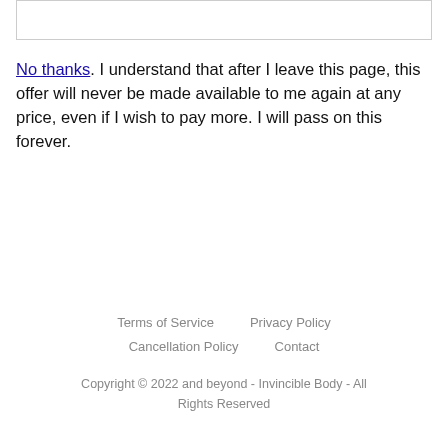No thanks. I understand that after I leave this page, this offer will never be made available to me again at any price, even if I wish to pay more. I will pass on this forever.
Terms of Service   Privacy Policy   Cancellation Policy   Contact   Copyright © 2022 and beyond - Invincible Body - All Rights Reserved